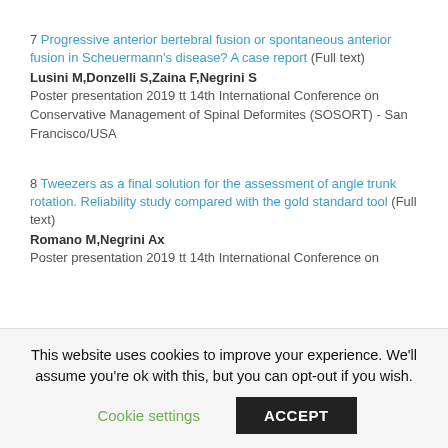7 Progressive anterior bertebral fusion or spontaneous anterior fusion in Scheuermann's disease? A case report (Full text)
Lusini M,Donzelli S,Zaina F,Negrini S
Poster presentation 2019 tt 14th International Conference on Conservative Management of Spinal Deformites (SOSORT) - San Francisco/USA
8 Tweezers as a final solution for the assessment of angle trunk rotation. Reliability study compared with the gold standard tool (Full text)
Romano M,Negrini Ax
Poster presentation 2019 tt 14th International Conference on
This website uses cookies to improve your experience. We'll assume you're ok with this, but you can opt-out if you wish.